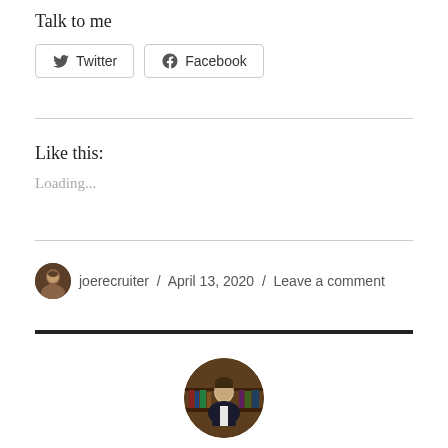Talk to me
Twitter  Facebook
Like this:
Loading...
joerecruiter / April 13, 2020 / Leave a comment
[Figure (photo): Circular profile photo of a man in a dark jacket against a bookshelf background]